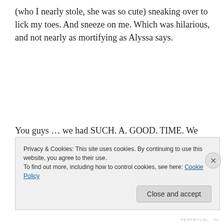(who I nearly stole, she was so cute) sneaking over to lick my toes. And sneeze on me. Which was hilarious, and not nearly as mortifying as Alyssa says.
You guys … we had SUCH. A. GOOD. TIME. We ordered pizza, made margaritas, and talked. Woke up the next morning and talked. Watched Toddlers & Tiaras (the HORROR!!) and the Tonys and Doctor Who (well maybe
Privacy & Cookies: This site uses cookies. By continuing to use this website, you agree to their use.
To find out more, including how to control cookies, see here: Cookie Policy